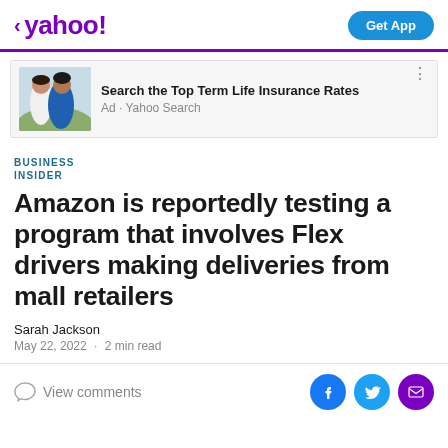< yahoo!   Get App
[Figure (photo): Ad banner with photo of couple sitting outdoors. Text: Search the Top Term Life Insurance Rates. Ad · Yahoo Search]
BUSINESS INSIDER
Amazon is reportedly testing a program that involves Flex drivers making deliveries from mall retailers
Sarah Jackson
May 22, 2022 · 2 min read
View comments